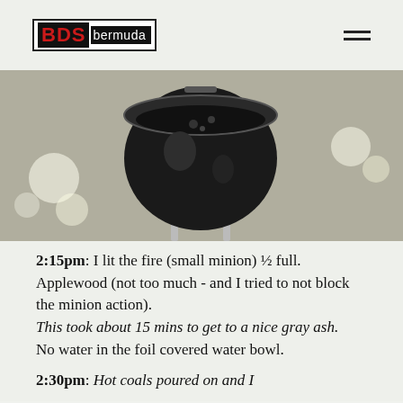BDS bermuda [logo] [hamburger menu]
[Figure (photo): Aerial/top-down photo of a black kettle-style charcoal grill (small minion) on a concrete/stone surface, viewed from above, showing charcoal inside. Bright bokeh light spots visible around the grill on the ground.]
2:15pm: I lit the fire (small minion) ½ full.
Applewood (not too much - and I tried to not block the minion action).
This took about 15 mins to get to a nice gray ash.
No water in the foil covered water bowl.
2:30pm: Hot coals poured on and I